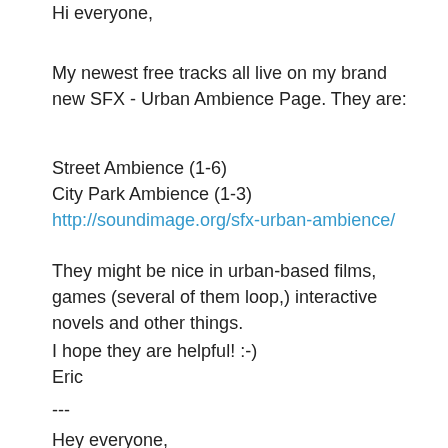Hi everyone,
My newest free tracks all live on my brand new SFX - Urban Ambience Page. They are:
Street Ambience (1-6)
City Park Ambience (1-3)
http://soundimage.org/sfx-urban-ambience/
They might be nice in urban-based films, games (several of them loop,) interactive novels and other things.
I hope they are helpful! :-)
Eric
---
Hey everyone,
Here are some free themes to choose from. They